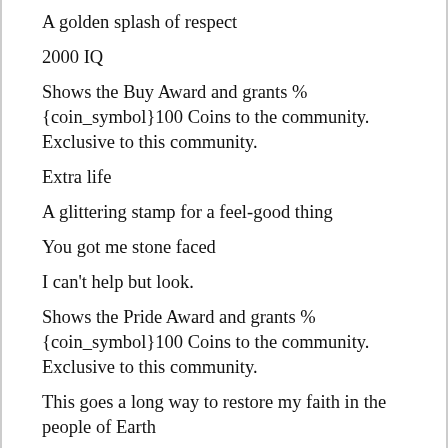A golden splash of respect
2000 IQ
Shows the Buy Award and grants %{coin_symbol}100 Coins to the community. Exclusive to this community.
Extra life
A glittering stamp for a feel-good thing
You got me stone faced
I can't help but look.
Shows the Pride Award and grants %{coin_symbol}100 Coins to the community. Exclusive to this community.
This goes a long way to restore my faith in the people of Earth
Historical anomaly - greatest in eternity.
That looks so good
Sometimes you just got to dance with the doots.